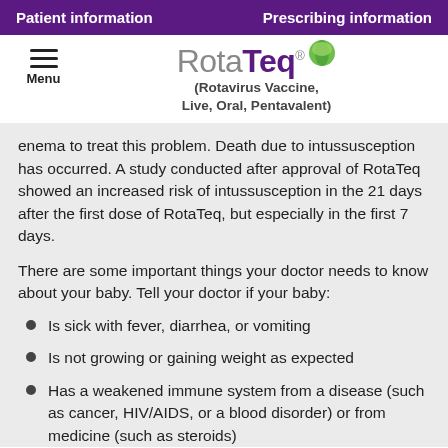Patient information    Prescribing information
[Figure (logo): RotaTeq logo with tagline (Rotavirus Vaccine, Live, Oral, Pentavalent) and menu icon]
enema to treat this problem. Death due to intussusception has occurred. A study conducted after approval of RotaTeq showed an increased risk of intussusception in the 21 days after the first dose of RotaTeq, but especially in the first 7 days.
There are some important things your doctor needs to know about your baby. Tell your doctor if your baby:
Is sick with fever, diarrhea, or vomiting
Is not growing or gaining weight as expected
Has a weakened immune system from a disease (such as cancer, HIV/AIDS, or a blood disorder) or from medicine (such as steroids)